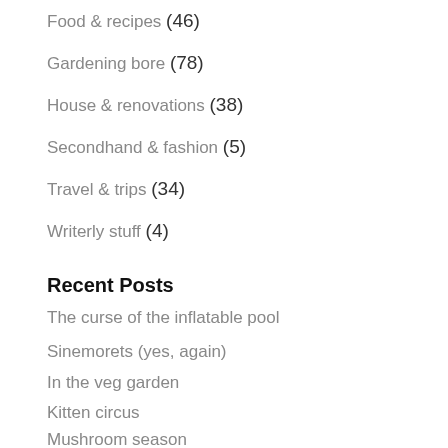Food & recipes (46)
Gardening bore (78)
House & renovations (38)
Secondhand & fashion (5)
Travel & trips (34)
Writerly stuff (4)
Recent Posts
The curse of the inflatable pool
Sinemorets (yes, again)
In the veg garden
Kitten circus
Mushroom season